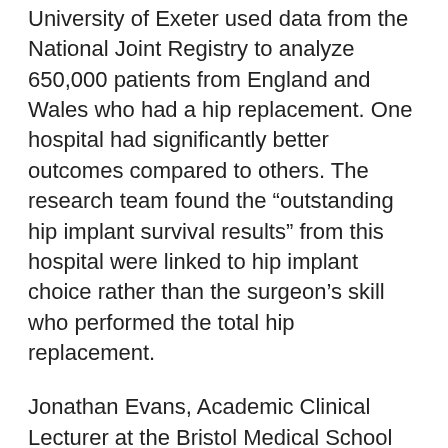University of Exeter used data from the National Joint Registry to analyze 650,000 patients from England and Wales who had a hip replacement. One hospital had significantly better outcomes compared to others. The research team found the “outstanding hip implant survival results” from this hospital were linked to hip implant choice rather than the surgeon’s skill who performed the total hip replacement.
Jonathan Evans, Academic Clinical Lecturer at the Bristol Medical School Translational Health Sciences (THS) based at Southmead Hospital, Bristol, was the lead author. “We want patients…to feel empowered to ask their surgeon not only what implants they plan to use for their hip replacement but, more